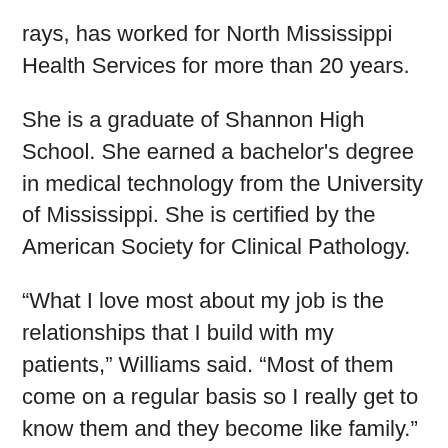rays, has worked for North Mississippi Health Services for more than 20 years.
She is a graduate of Shannon High School. She earned a bachelor's degree in medical technology from the University of Mississippi. She is certified by the American Society for Clinical Pathology.
“What I love most about my job is the relationships that I build with my patients,” Williams said. “Most of them come on a regular basis so I really get to know them and they become like family.”
In nominating Williams, one of her colleagues wrote that “She uses her own strength not to shine above others, but to allow the team to shine through…She exhibits…